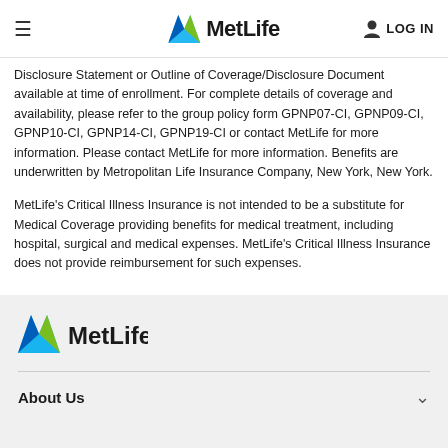MetLife | LOG IN
Disclosure Statement or Outline of Coverage/Disclosure Document available at time of enrollment. For complete details of coverage and availability, please refer to the group policy form GPNP07-CI, GPNP09-CI, GPNP10-CI, GPNP14-CI, GPNP19-CI or contact MetLife for more information. Please contact MetLife for more information. Benefits are underwritten by Metropolitan Life Insurance Company, New York, New York.
MetLife's Critical Illness Insurance is not intended to be a substitute for Medical Coverage providing benefits for medical treatment, including hospital, surgical and medical expenses. MetLife's Critical Illness Insurance does not provide reimbursement for such expenses.
[Figure (logo): MetLife logo in footer area]
About Us